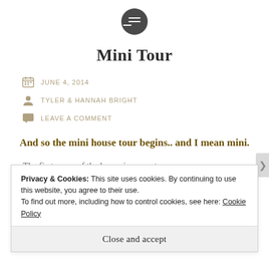Mini Tour
Mini Tour
JUNE 4, 2014
TYLER & HANNAH BRIGHT
LEAVE A COMMENT
And so the mini house tour begins.. and I mean mini.
The first room of the house is our entryway
Privacy & Cookies: This site uses cookies. By continuing to use this website, you agree to their use. To find out more, including how to control cookies, see here: Cookie Policy
Close and accept